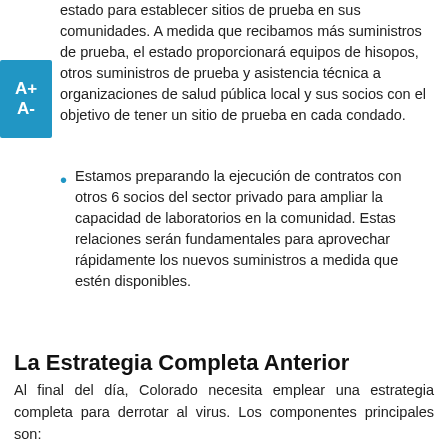estado para establecer sitios de prueba en sus comunidades. A medida que recibamos más suministros de prueba, el estado proporcionará equipos de hisopos, otros suministros de prueba y asistencia técnica a organizaciones de salud pública local y sus socios con el objetivo de tener un sitio de prueba en cada condado.
Estamos preparando la ejecución de contratos con otros 6 socios del sector privado para ampliar la capacidad de laboratorios en la comunidad. Estas relaciones serán fundamentales para aprovechar rápidamente los nuevos suministros a medida que estén disponibles.
La Estrategia Completa Anterior
Al final del día, Colorado necesita emplear una estrategia completa para derrotar al virus. Los componentes principales son: